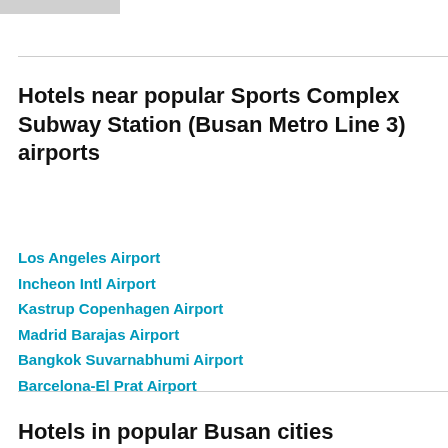[Figure (other): Gray rectangle bar at top left of page]
Hotels near popular Sports Complex Subway Station (Busan Metro Line 3) airports
Los Angeles Airport
Incheon Intl Airport
Kastrup Copenhagen Airport
Madrid Barajas Airport
Bangkok Suvarnabhumi Airport
Barcelona-El Prat Airport
Hotels in popular Busan cities